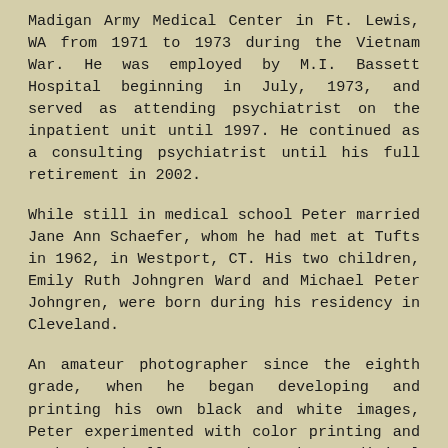Madigan Army Medical Center in Ft. Lewis, WA from 1971 to 1973 during the Vietnam War. He was employed by M.I. Bassett Hospital beginning in July, 1973, and served as attending psychiatrist on the inpatient unit until 1997. He continued as a consulting psychiatrist until his full retirement in 2002.
While still in medical school Peter married Jane Ann Schaefer, whom he had met at Tufts in 1962, in Westport, CT. His two children, Emily Ruth Johngren Ward and Michael Peter Johngren, were born during his residency in Cleveland.
An amateur photographer since the eighth grade, when he began developing and printing his own black and white images, Peter experimented with color printing and enthusiastically embraced digital photography and printing with Photoshop from its beginnings. He studied photography with George Lepp, Gary Randorf, and Carl Heilman II, among others, and with the Rocky Mountain School of Photography and John Radigan's Adirondack Photography Institute.